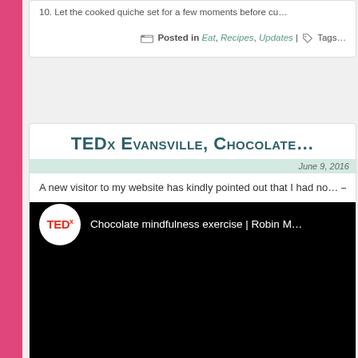10. Let the cooked quiche set for a few moments before cu…
Posted in Eat, Recipes, Updates | Tags…
TEDx Evansville, Chocolate…
June 9, 2016
A new visitor to my website has kindly pointed out that I had no… — Enjoy!
[Figure (screenshot): Embedded TEDx video player showing 'Chocolate mindfulness exercise | Robin M…' with TEDx logo on black background]